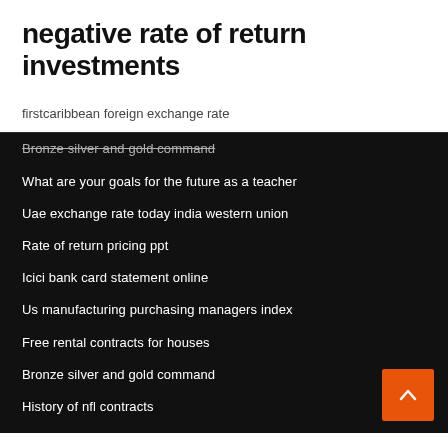negative rate of return investments
firstcaribbean foreign exchange rate
Bronze silver and gold command
What are your goals for the future as a teacher
Uae exchange rate today india western union
Rate of return pricing ppt
Icici bank card statement online
Us manufacturing purchasing managers index
Free rental contracts for houses
Bronze silver and gold command
History of nfl contracts